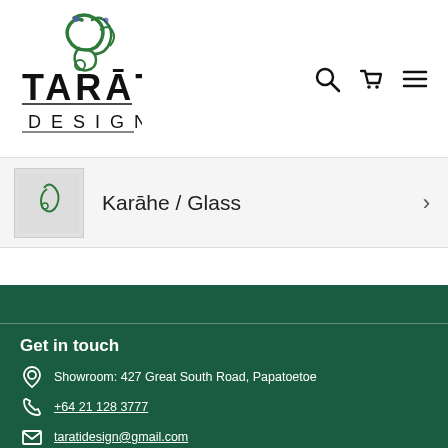[Figure (logo): Tarati Design logo with decorative Maori-style koru spiral above text reading TARATI DESIGN in black]
Karāhe / Glass
Get in touch
Showroom: 427 Great South Road, Papatoetoe
+64 21 128 3777
taratidesign@gmail.com
9.30am - 5.30pm Mon-Sat
Quick Links
Customer Care
About Us
My Account